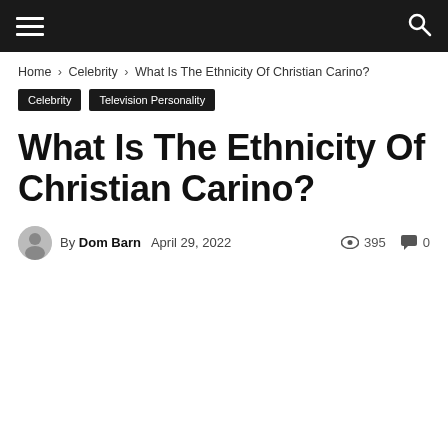Menu | Search
Home › Celebrity › What Is The Ethnicity Of Christian Carino?
Celebrity
Television Personality
What Is The Ethnicity Of Christian Carino?
By Dom Barn  April 29, 2022  395 views  0 comments